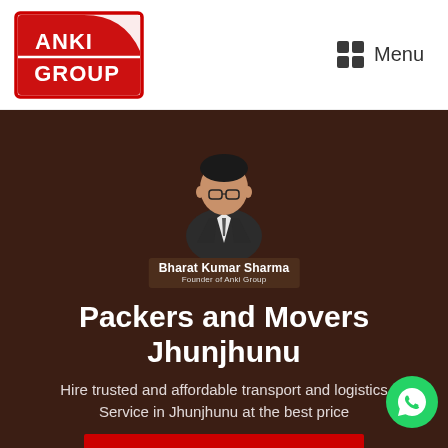[Figure (logo): ANKI GROUP logo — red rectangle with white text 'ANKI GROUP' and a red rounded shape in top-right corner]
Menu
[Figure (photo): Photo of Bharat Kumar Sharma, Founder of Anki Group, wearing a dark suit, smiling]
Packers and Movers Jhunjhunu
Hire trusted and affordable transport and logistics Service in Jhunjhunu at the best price